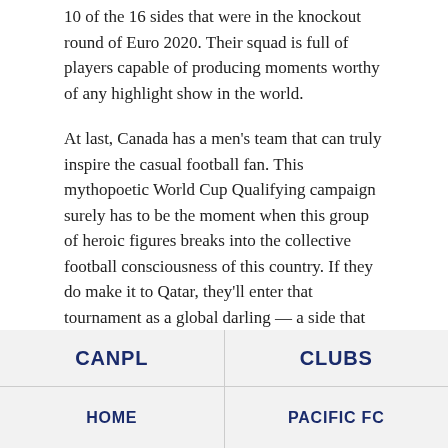10 of the 16 sides that were in the knockout round of Euro 2020. Their squad is full of players capable of producing moments worthy of any highlight show in the world.
At last, Canada has a men’s team that can truly inspire the casual football fan. This mythopoetic World Cup Qualifying campaign surely has to be the moment when this group of heroic figures breaks into the collective football consciousness of this country. If they do make it to Qatar, they’ll enter that tournament as a global darling — a side that everyone tunes in to see.
And when that happens, don’t forget: they’ve always been this much fun.
| CANPL | CLUBS |
| --- | --- |
| HOME | PACIFIC FC |